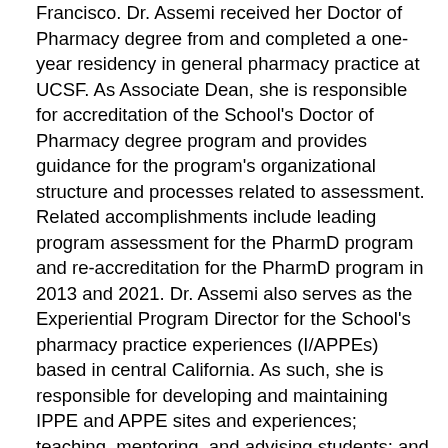Francisco. Dr. Assemi received her Doctor of Pharmacy degree from and completed a one-year residency in general pharmacy practice at UCSF. As Associate Dean, she is responsible for accreditation of the School's Doctor of Pharmacy degree program and provides guidance for the program's organizational structure and processes related to assessment. Related accomplishments include leading program assessment for the PharmD program and re-accreditation for the PharmD program in 2013 and 2021. Dr. Assemi also serves as the Experiential Program Director for the School's pharmacy practice experiences (I/APPEs) based in central California. As such, she is responsible for developing and maintaining IPPE and APPE sites and experiences; teaching, mentoring, and advising students; and recruiting and developing volunteer faculty. Her current research interests include programmatic assessment and curriculum development and assessment (including experiential education program-related development and assessment). Her experiences with curriculum development and assessment include developing and assessing train-the-trainer programs focused on curriculum development for cultural and linguistic competence training within health professions education.